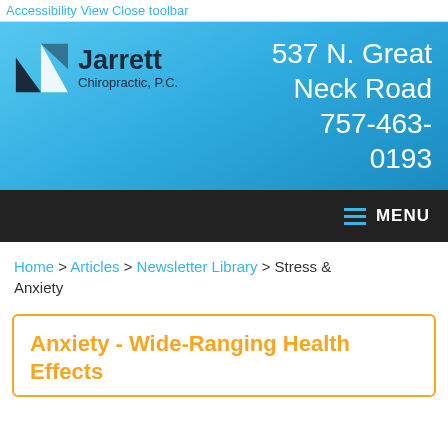Accessibility View Close toolbar
[Figure (logo): Jarrett Chiropractic P.C. logo with triangular geometric icon and address 537 N. Great Neck Road 757-463-0193 on blue background]
MENU
Home > Articles > Newsletter Library > Stress & Anxiety
Anxiety - Wide-Ranging Health Effects